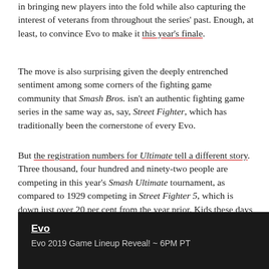in bringing new players into the fold while also capturing the interest of veterans from throughout the series' past. Enough, at least, to convince Evo to make it this year's finale.
The move is also surprising given the deeply entrenched sentiment among some corners of the fighting game community that Smash Bros. isn't an authentic fighting game series in the same way as, say, Street Fighter, which has traditionally been the cornerstone of every Evo.
But the registration numbers for Ultimate tell a different story. Three thousand, four hundred and ninety-two people are competing in this year's Smash Ultimate tournament, as compared to 1929 competing in Street Fighter 5, which is down just over 20 per cent from the year prior. Kids these days wanna Smash.
[Figure (screenshot): Embedded link/widget box with dark background showing Evo title and 'Evo 2019 Game Lineup Reveal! ~ 6PM PT' subtitle]